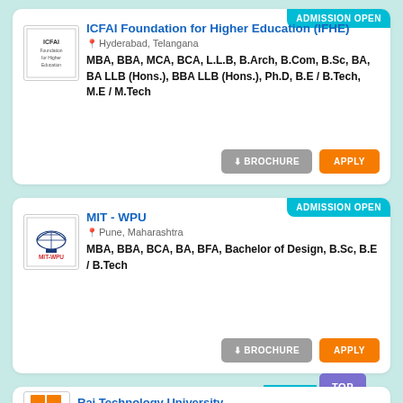ADMISSION OPEN
ICFAI Foundation for Higher Education (IFHE)
Hyderabad, Telangana
MBA, BBA, MCA, BCA, L.L.B, B.Arch, B.Com, B.Sc, BA, BA LLB (Hons.), BBA LLB (Hons.), Ph.D, B.E / B.Tech, M.E / M.Tech
BROCHURE
APPLY
ADMISSION OPEN
MIT - WPU
Pune, Maharashtra
MBA, BBA, BCA, BA, BFA, Bachelor of Design, B.Sc, B.E / B.Tech
BROCHURE
APPLY
TOP
ADMISSI
Rai Technology University